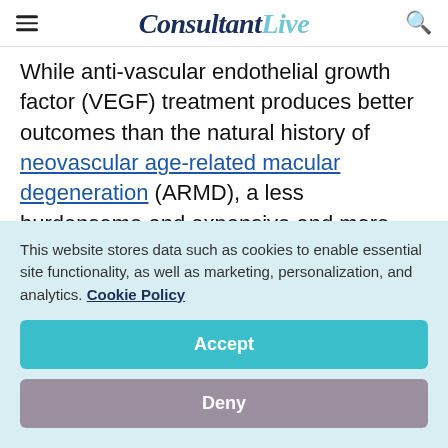ConsultantLive
While anti-vascular endothelial growth factor (VEGF) treatment produces better outcomes than the natural history of neovascular age-related macular degeneration (ARMD), a less burdensome and expensive and more durable treatment would improve care.
A team led by Timothy L. Jackson, PhD
This website stores data such as cookies to enable essential site functionality, as well as marketing, personalization, and analytics. Cookie Policy
Accept
Deny